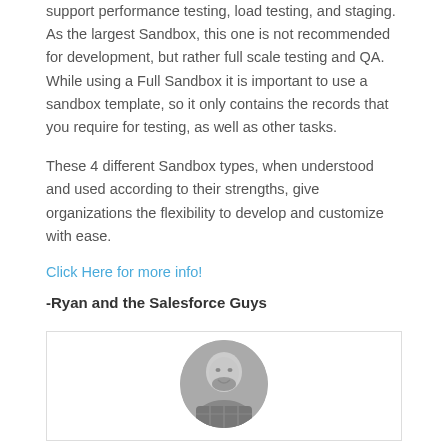support performance testing, load testing, and staging. As the largest Sandbox, this one is not recommended for development, but rather full scale testing and QA. While using a Full Sandbox it is important to use a sandbox template, so it only contains the records that you require for testing, as well as other tasks.
These 4 different Sandbox types, when understood and used according to their strengths, give organizations the flexibility to develop and customize with ease.
Click Here for more info!
-Ryan and the Salesforce Guys
[Figure (photo): Circular grayscale headshot photo of a bald man with a beard, smiling, wearing a plaid shirt]